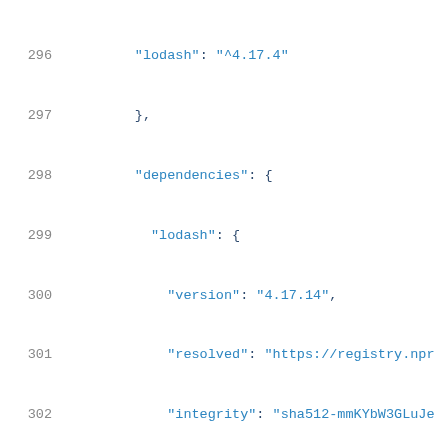296-317: JSON code block showing lodash and babel-helper-explode-assignable-expression package definitions
296    "lodash": "^4.17.4"
297  },
298  "dependencies": {
299    "lodash": {
300      "version": "4.17.14",
301      "resolved": "https://registry.npr
302      "integrity": "sha512-mmKYbW3GLuJe
303      "dev": true
304    }
305  }
306  },
307  "babel-helper-explode-assignable-expres
308    "version": "6.24.1",
309    "resolved": "https://registry.npmjs.c
310    "integrity": "sha1-8luCz33BBDPFX3BZL\
311    "dev": true,
312    "requires": {
313      "babel-runtime": "^6.22.0",
314      "babel-traverse": "^6.24.1",
315      "babel-types": "^6.24.1"
316    }
317  },